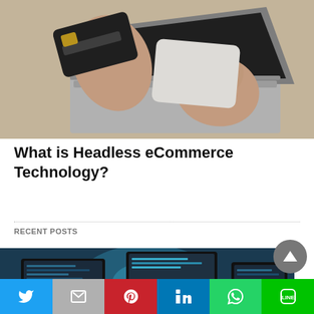[Figure (photo): Person holding a credit card in one hand and typing on a laptop keyboard with the other hand, close-up shot on a desk]
What is Headless eCommerce Technology?
RECENT POSTS
[Figure (photo): Dark blue toned photo of computer monitors/screens in a tech environment]
Twitter | Gmail | Pinterest | LinkedIn | WhatsApp | LINE social share bar